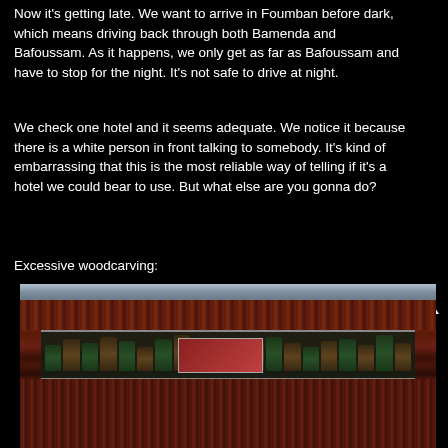Now it's getting late. We want to arrive in Foumban before dark, which means driving back through both Bamenda and Bafoussam. As it happens, we only get as far as Bafoussam and have to stop for the night. It's not safe to drive at night.
We check one hotel and it seems adequate. We notice it because there is a white person in front talking to somebody. It's kind of embarrassing that this is the most reliable way of telling if it's a hotel we could bear to use. But what else are you gonna do?
Excessive woodcarving:
[Figure (photo): Interior photograph of a hotel bar with heavy dark woodcarving covering the counter and walls. Shelves with bottles visible behind the bar. Decorative carved wood panels are prominent throughout.]